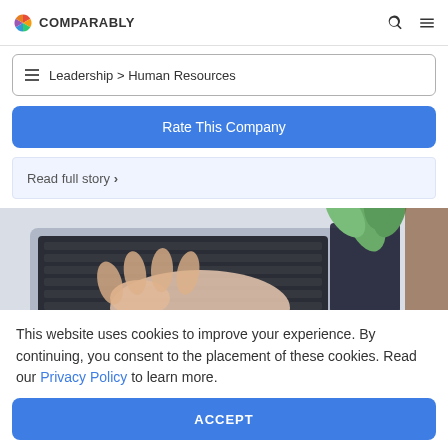COMPARABLY
Leadership > Human Resources
Rate This Company
Read full story ›
[Figure (photo): Overhead view of hands typing on a laptop keyboard with a plant and notebook visible nearby on a white desk surface]
This website uses cookies to improve your experience. By continuing, you consent to the placement of these cookies. Read our Privacy Policy to learn more.
ACCEPT